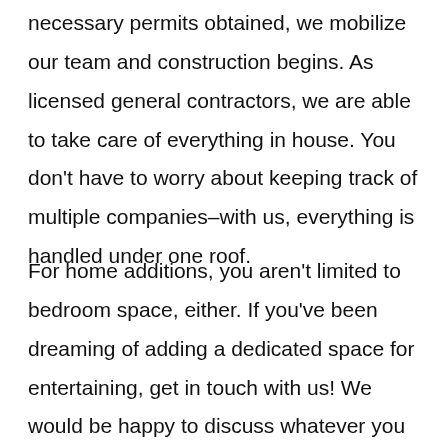necessary permits obtained, we mobilize our team and construction begins. As licensed general contractors, we are able to take care of everything in house. You don't have to worry about keeping track of multiple companies–with us, everything is handled under one roof.
For home additions, you aren't limited to bedroom space, either. If you've been dreaming of adding a dedicated space for entertaining, get in touch with us! We would be happy to discuss whatever you have in mind, and draw up some plans.